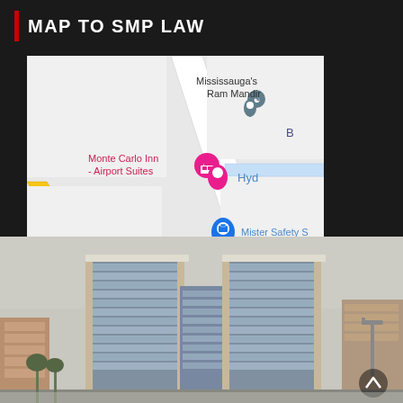MAP TO SMP LAW
[Figure (map): Google Maps screenshot showing location near Mississauga's Ram Mandir, Monte Carlo Inn - Airport Suites, Tim Hortons, Mister Safety S, and Hyd... (Hydro) in Mississauga area.]
[Figure (photo): Exterior photograph of a modern multi-story office building with blue glass facade, viewed from street level in overcast winter conditions.]